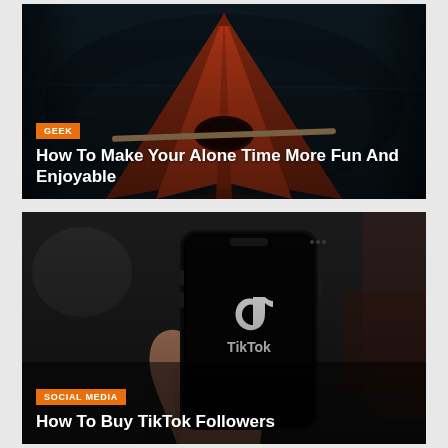[Figure (photo): Aerial view of a red kayak on dark water, bow pointing forward symmetrically]
GEEK
How To Make Your Alone Time More Fun And Enjoyable
[Figure (photo): A hand holding a smartphone displaying the TikTok app logo and name on a dark screen]
SOCIAL MEDIA
How To Buy TikTok Followers